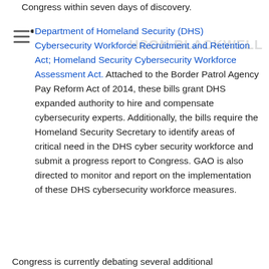Congress within seven days of discovery.
Department of Homeland Security (DHS) Cybersecurity Workforce Recruitment and Retention Act; Homeland Security Cybersecurity Workforce Assessment Act. Attached to the Border Patrol Agency Pay Reform Act of 2014, these bills grant DHS expanded authority to hire and compensate cybersecurity experts. Additionally, the bills require the Homeland Security Secretary to identify areas of critical need in the DHS cyber security workforce and submit a progress report to Congress. GAO is also directed to monitor and report on the implementation of these DHS cybersecurity workforce measures.
Congress is currently debating several additional measures that would further the impact on the...